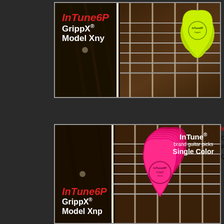[Figure (photo): InTune6P GrippX Model Xny guitar picks (yellow/neon green) on guitar fretboard, top product card]
[Figure (photo): InTune6P GrippX Model Xnp guitar picks (hot pink/neon pink) stacked on guitar fretboard, InTune brand guitar picks Single Color label, bottom product card]
InTu
Code
Price:
Quan